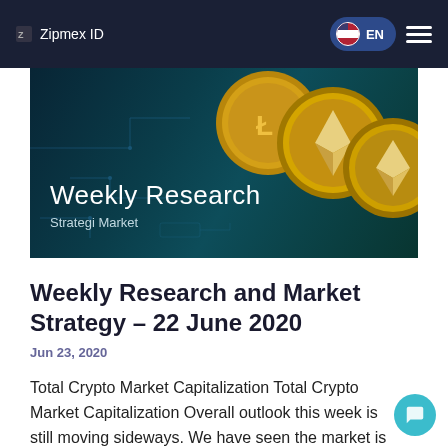Zipmex ID  EN
[Figure (illustration): Hero banner image showing cryptocurrency coins (Ethereum, Litecoin) on a dark teal circuit board background, with text 'Weekly Research' and 'Strategi Market']
Weekly Research and Market Strategy – 22 June 2020
Jun 23, 2020
Total Crypto Market Capitalization Total Crypto Market Capitalization Overall outlook this week is still moving sideways. We have seen the market is